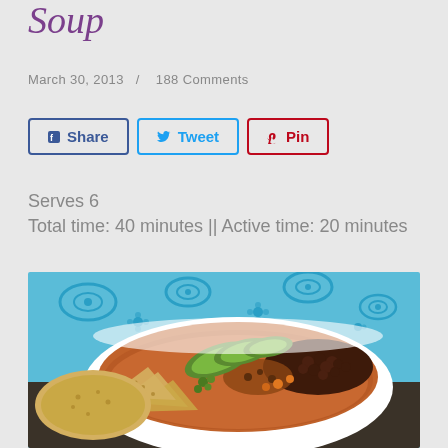Soup
March 30, 2013  /  188 Comments
Share  Tweet  Pin
Serves 6
Total time: 40 minutes || Active time: 20 minutes
[Figure (photo): A white bowl filled with black bean soup topped with sliced avocado, black beans, and tortilla chips, placed on a blue decorative cloth background]